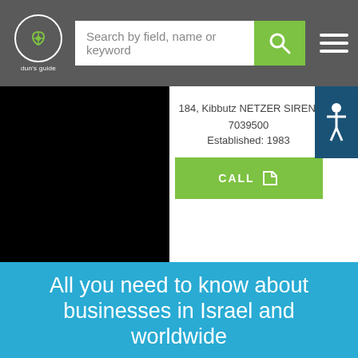dun's guide — Search by field, name or keyword
184, Kibbutz NETZER SIRENI
7039500
Established: 1983
CALL
All you need to know about businesses in Israel and worldwide
Before engaging in any business relationship